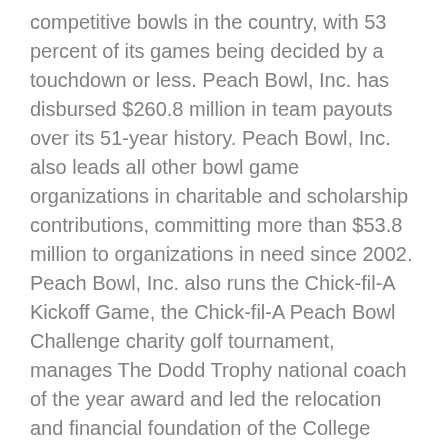competitive bowls in the country, with 53 percent of its games being decided by a touchdown or less. Peach Bowl, Inc. has disbursed $260.8 million in team payouts over its 51-year history. Peach Bowl, Inc. also leads all other bowl game organizations in charitable and scholarship contributions, committing more than $53.8 million to organizations in need since 2002. Peach Bowl, Inc. also runs the Chick-fil-A Kickoff Game, the Chick-fil-A Peach Bowl Challenge charity golf tournament, manages The Dodd Trophy national coach of the year award and led the relocation and financial foundation of the College Football Hall of Fame to Atlanta. For more information, visit Chick-fil-APeachBowl.com or follow us on Twitter at @CFAPeachBowl and find us on Facebook at Facebook.com/CFAPeachBowl.